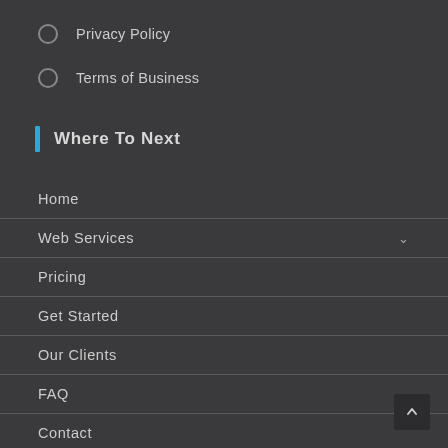Privacy Policy
Terms of Business
Where To Next
Home
Web Services
Pricing
Get Started
Our Clients
FAQ
Contact